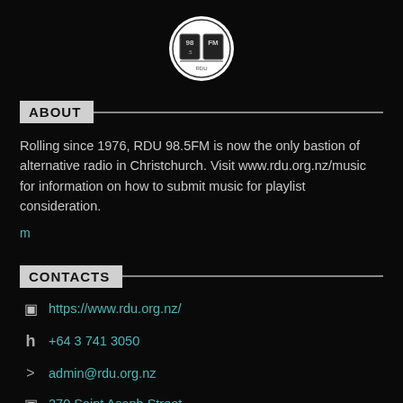[Figure (logo): RDU 98.5FM radio station logo, circular badge with stylized letters, white circle background]
ABOUT
Rolling since 1976, RDU 98.5FM is now the only bastion of alternative radio in Christchurch. Visit www.rdu.org.nz/music for information on how to submit music for playlist consideration.
m
CONTACTS
https://www.rdu.org.nz/
+64 3 741 3050
admin@rdu.org.nz
270 Saint Asaph Street